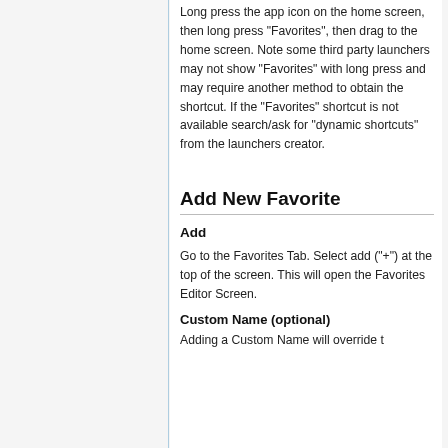Long press the app icon on the home screen, then long press "Favorites", then drag to the home screen. Note some third party launchers may not show "Favorites" with long press and may require another method to obtain the shortcut. If the "Favorites" shortcut is not available search/ask for "dynamic shortcuts" from the launchers creator.
Add New Favorite
Add
Go to the Favorites Tab. Select add ("+") at the top of the screen. This will open the Favorites Editor Screen.
Custom Name (optional)
Adding a Custom Name will override t...